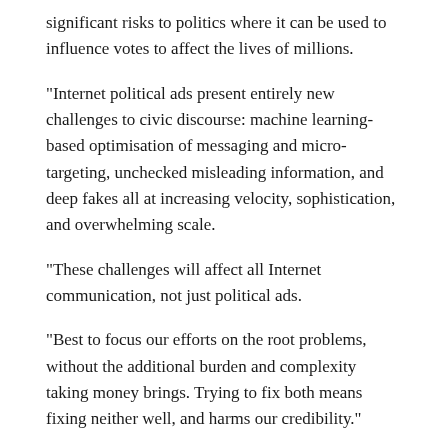significant risks to politics where it can be used to influence votes to affect the lives of millions.
"Internet political ads present entirely new challenges to civic discourse: machine learning-based optimisation of messaging and micro-targeting, unchecked misleading information, and deep fakes all at increasing velocity, sophistication, and overwhelming scale.
"These challenges will affect all Internet communication, not just political ads.
"Best to focus our efforts on the root problems, without the additional burden and complexity taking money brings. Trying to fix both means fixing neither well, and harms our credibility."
INTERNATIONAL
INTERNET
POLITICS